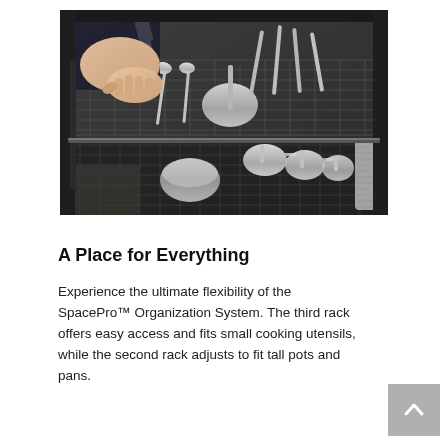[Figure (photo): A hand loading cooking utensils and pots into a dishwasher rack. The third rack of a dishwasher is shown filled with stainless steel measuring cups, ladles, a spatula, a grater, and other small cooking utensils arranged in a dark wire rack.]
A Place for Everything
Experience the ultimate flexibility of the SpacePro™ Organization System. The third rack offers easy access and fits small cooking utensils, while the second rack adjusts to fit tall pots and pans.